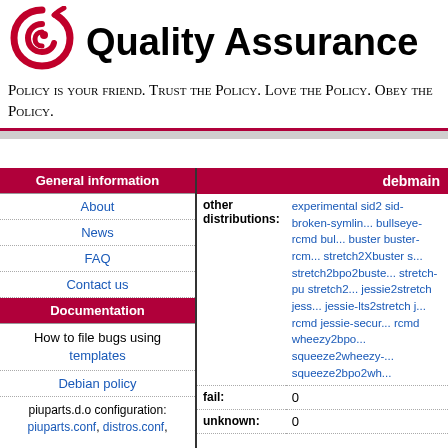[Figure (logo): Debian swirl logo in red]
Quality Assurance
Policy is your friend. Trust the Policy. Love the Policy. Obey the Policy.
General information
About
News
FAQ
Contact us
Documentation
How to file bugs using templates
Debian policy
piuparts.d.o configuration: piuparts.conf, distros.conf,
debmain
|  |  |
| --- | --- |
| other distributions: | experimental sid2... sid-broken-symlin... bullseye-rcmd bul... buster buster-rcm... stretch2Xbuster s... stretch2bpo2buste... stretch-pu stretch2... jessie2stretch jess... jessie-lts2stretch j... rcmd jessie-secur... rcmd wheezy2bpo... squeeze2wheezy-... squeeze2bpo2wh... |
| fail: | 0 |
| unknown: | 0 |